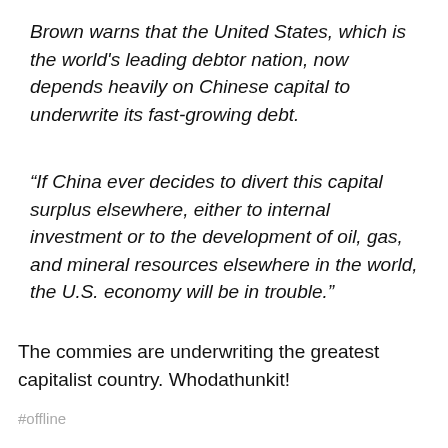Brown warns that the United States, which is the world's leading debtor nation, now depends heavily on Chinese capital to underwrite its fast-growing debt.
“If China ever decides to divert this capital surplus elsewhere, either to internal investment or to the development of oil, gas, and mineral resources elsewhere in the world, the U.S. economy will be in trouble.”
The commies are underwriting the greatest capitalist country. Whodathunkit!
#offline